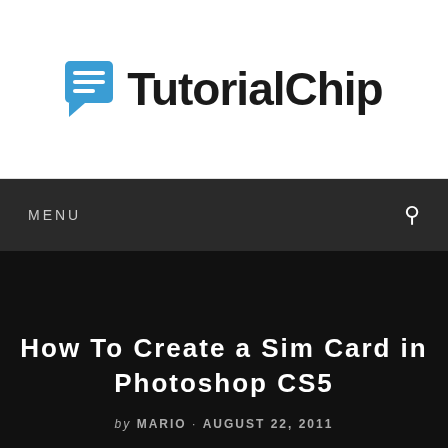[Figure (logo): TutorialChip logo with blue speech bubble icon containing horizontal lines, followed by bold black text 'TutorialChip']
MENU
How To Create a Sim Card in Photoshop CS5
by MARIO · AUGUST 22, 2011